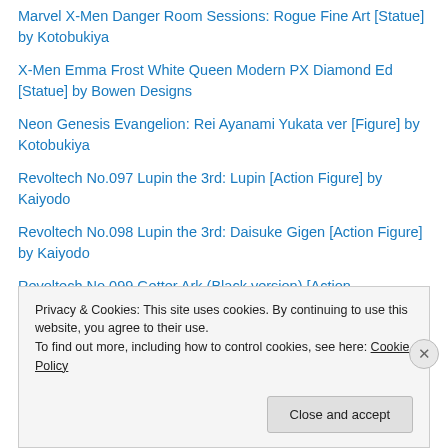Marvel X-Men Danger Room Sessions: Rogue Fine Art [Statue] by Kotobukiya
X-Men Emma Frost White Queen Modern PX Diamond Ed [Statue] by Bowen Designs
Neon Genesis Evangelion: Rei Ayanami Yukata ver [Figure] by Kotobukiya
Revoltech No.097 Lupin the 3rd: Lupin [Action Figure] by Kaiyodo
Revoltech No.098 Lupin the 3rd: Daisuke Gigen [Action Figure] by Kaiyodo
Revoltech No.099 Getter Ark (Black version) [Action
Privacy & Cookies: This site uses cookies. By continuing to use this website, you agree to their use.
To find out more, including how to control cookies, see here: Cookie Policy
Close and accept